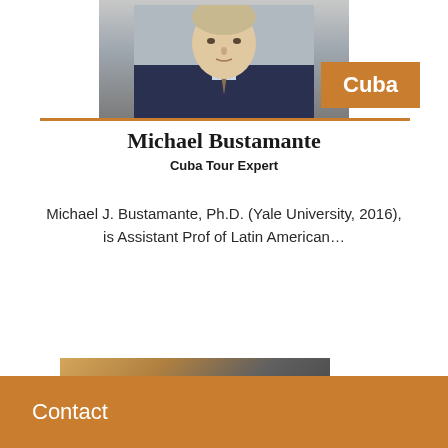[Figure (photo): Headshot of Michael Bustamante, a man in a dark suit and patterned tie, photographed from the chest up]
Cuba
Michael Bustamante
Cuba Tour Expert
Michael J. Bustamante, Ph.D. (Yale University, 2016), is Assistant Prof of Latin American…
[Figure (photo): Partial photo at bottom of page, partially cut off]
Contact